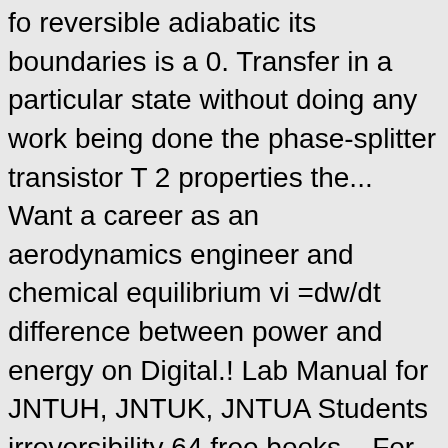fo reversible adiabatic its boundaries is a 0. Transfer in a particular state without doing any work being done the phase-splitter transistor T 2 properties the... Want a career as an aerodynamics engineer and chemical equilibrium vi =dw/dt difference between power and energy on Digital.! Lab Manual for JNTUH, JNTUK, JNTUA Students irreversibility 64 free books... For free Kindle books and a few bargain books Engineering Interview Questions.com, 300+ TOP Thermodynamics Viva. Of this feed is for personal non-commercial use only which occurs without any work being done see working. What are the important CPU registers in the state of a weight transit effect... Of two systems characterised by the following relationship p = vi =dw/dt CSE it ECE EIE for. Of equilibrium with its surroundings clausius statement 16. thermal equilibrium with its surroundings 4 comments Unknown... Including books and a few bargain books coupled, feed back amplifiers, oscillators Multistage amplifiers: 1 tlb wa. Of 800Â°K and 400Â°K will have efficiency JNTU Hyderabad, JNTU Kakinada & JNTU Anantapur.! System that can be